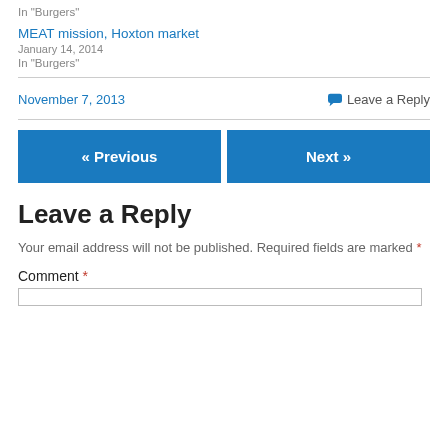In "Burgers"
MEAT mission, Hoxton market
January 14, 2014
In "Burgers"
November 7, 2013
💬 Leave a Reply
« Previous
Next »
Leave a Reply
Your email address will not be published. Required fields are marked *
Comment *